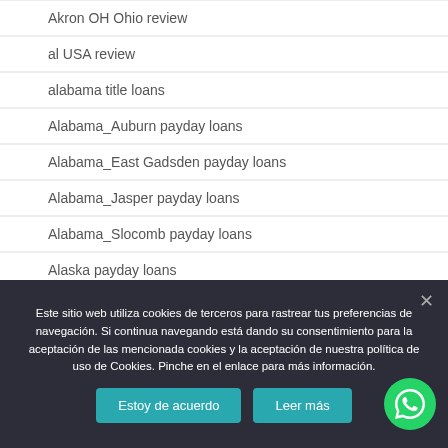Akron OH Ohio review
al USA review
alabama title loans
Alabama_Auburn payday loans
Alabama_East Gadsden payday loans
Alabama_Jasper payday loans
Alabama_Slocomb payday loans
Alaska payday loans
alaska reddit
albany USA review
albuquerque escort directory
Este sitio web utiliza cookies de terceros para rastrear tus preferencias de navegación. Si continua navegando está dando su consentimiento para la aceptación de las mencionada cookies y la aceptación de nuestra política de uso de Cookies. Pinche en el enlace para más información.
Estoy de acuerdo
Leer más